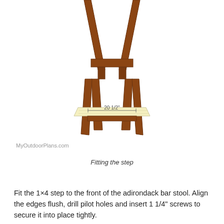[Figure (engineering-diagram): Front view of an adirondack bar stool frame showing wooden legs and a light yellow horizontal step/footrest labeled with dimension '20 1/2"' across its width. The frame is brown wood with angled legs visible at top.]
Fitting the step
Fit the 1×4 step to the front of the adirondack bar stool. Align the edges flush, drill pilot holes and insert 1 1/4" screws to secure it into place tightly.